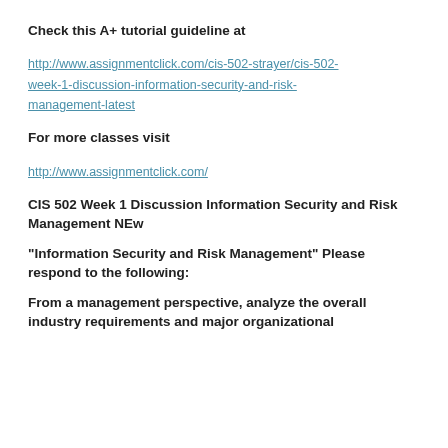Check this A+ tutorial guideline at
http://www.assignmentclick.com/cis-502-strayer/cis-502-week-1-discussion-information-security-and-risk-management-latest
For more classes visit
http://www.assignmentclick.com/
CIS 502 Week 1 Discussion Information Security and Risk Management NEw
“Information Security and Risk Management” Please respond to the following:
From a management perspective, analyze the overall industry requirements and major organizational